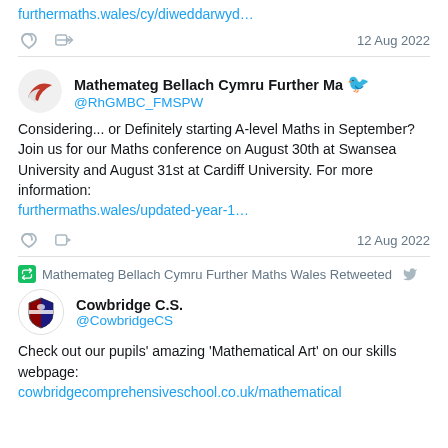furthermaths.wales/cy/diweddarwyd…
12 Aug 2022
Mathemateg Bellach Cymru Further Ma @RhGMBC_FMSPW
Considering... or Definitely starting A-level Maths in September?
Join us for our Maths conference on August 30th at Swansea University and August 31st at Cardiff University. For more information:
furthermaths.wales/updated-year-1…
12 Aug 2022
Mathemateg Bellach Cymru Further Maths Wales Retweeted
Cowbridge C.S. @CowbridgeCS
Check out our pupils' amazing 'Mathematical Art' on our skills webpage:
cowbridgecomprehensiveschool.co.uk/mathematical